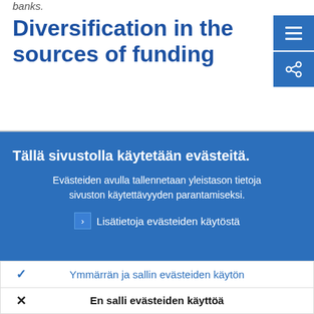banks.
Diversification in the sources of funding
Tällä sivustolla käytetään evästeitä.
Evästeiden avulla tallennetaan yleistason tietoja sivuston käytettävyyden parantamiseksi.
Lisätietoja evästeiden käytöstä
Ymmärrän ja sallin evästeiden käytön
En salli evästeiden käyttöä